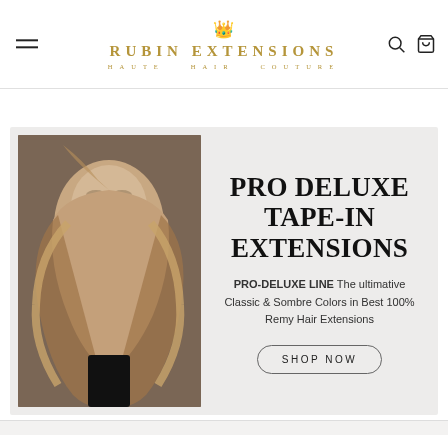RUBIN EXTENSIONS HAUTE HAIR COUTURE
[Figure (photo): Website banner showing a glamorous woman with long blonde wavy hair and a large promotional text for Pro Deluxe Tape-In Extensions]
PRO DELUXE TAPE-IN EXTENSIONS
PRO-DELUXE LINE The ultimative Classic & Sombre Colors in Best 100% Remy Hair Extensions
SHOP NOW